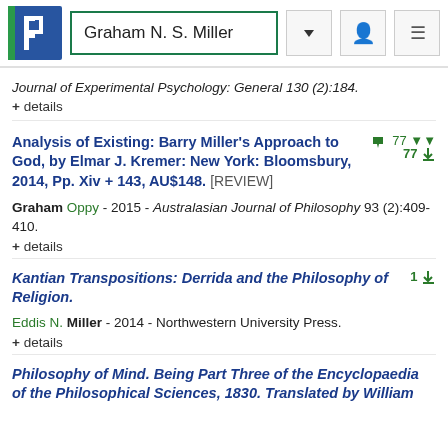Graham N. S. Miller
Journal of Experimental Psychology: General 130 (2):184.
+ details
Analysis of Existing: Barry Miller's Approach to God, by Elmar J. Kremer: New York: Bloomsbury, 2014, Pp. Xiv + 143, AU$148. [REVIEW]
Graham Oppy - 2015 - Australasian Journal of Philosophy 93 (2):409-410.
+ details
Kantian Transpositions: Derrida and the Philosophy of Religion.
Eddis N. Miller - 2014 - Northwestern University Press.
+ details
Philosophy of Mind. Being Part Three of the Encyclopaedia of the Philosophical Sciences, 1830. Translated by William